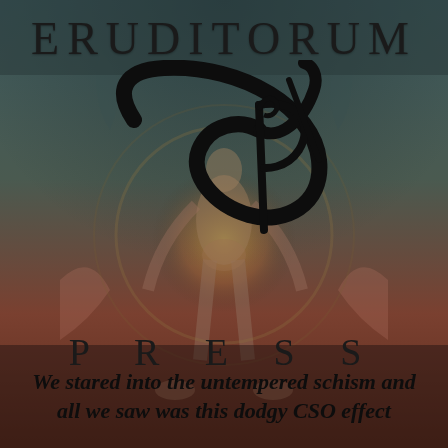ERUDITORUM
[Figure (logo): Eruditorum Press logo: a stylized cursive 'EP' monogram in black, overlaid on a background illustration of a figure from William Blake-style artwork (a muscular human figure bending forward, surrounded by circular forms). The background has muted teal/grey tones at top and warm red/brown tones at bottom with a golden circular glow behind the figure.]
PRESS
We stared into the untempered schism and all we saw was this dodgy CSO effect